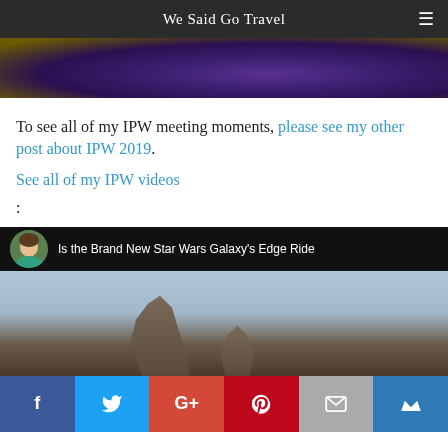We Said Go Travel
[Figure (photo): Partial view of a purple/violet illuminated circular floor or plaza, likely a nighttime outdoor venue]
To see all of my IPW meeting moments, please see my other post about IPW 2019.
See all of my IPW videos:
[Figure (screenshot): Video thumbnail showing a YouTube-style video with title 'Is the Brand New Star Wars Galaxy's Edge Ride' with a rocky alien landscape and a woman's avatar]
[Figure (other): Social media share bar with Facebook, Twitter, Google+, Pinterest, Email, and crown/bookmark icons]